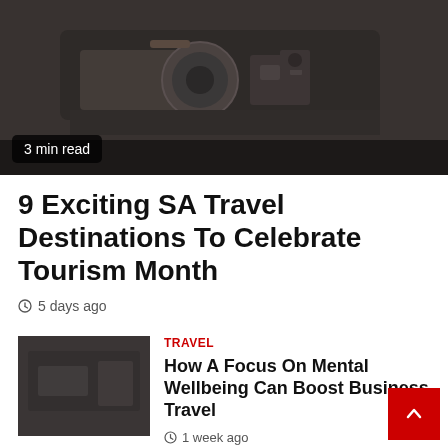[Figure (photo): Dark hero image showing a train or industrial scene, dimly lit]
3 min read
9 Exciting SA Travel Destinations To Celebrate Tourism Month
5 days ago
[Figure (photo): Small dark thumbnail image for related article]
TRAVEL
How A Focus On Mental Wellbeing Can Boost Business Travel
1 week ago